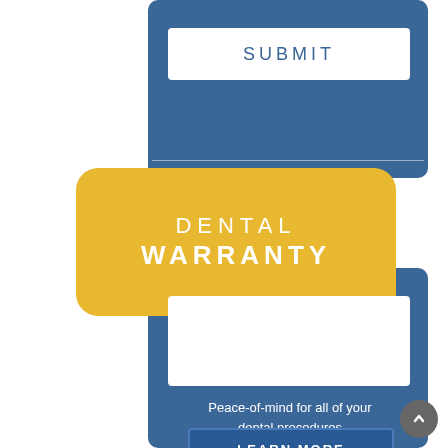SUBMIT
DENTAL WARRANTY
[Figure (other): White rectangular image area placeholder inside blue card]
Peace-of-mind for all of your dental procedures
LEARN MORE